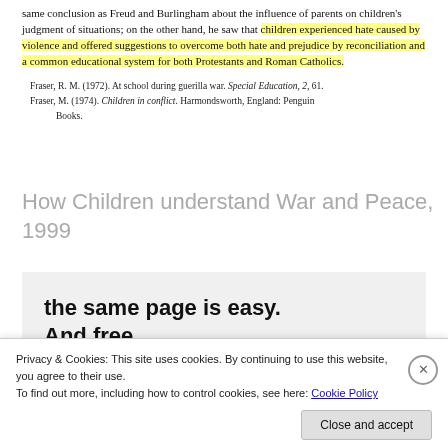same conclusion as Freud and Burlingham about the influence of parents on children's judgment of situations; on the other hand, he saw that children experienced hate caused by violence and offered suggestions to overcome both hate and prejudice by reconciliation and a common educational system for both Protestants and Roman Catholics.
Fraser, R. M. (1972). At school during guerilla war. Special Education, 2, 61. Fraser, M. (1974). Children in conflict. Harmondsworth, England: Penguin Books.
How Children understand War and Peace, 1999
[Figure (screenshot): A promotional banner with bold text reading 'the same page is easy. And free.' with a row of circular avatar photos below, on a light grey background.]
Privacy & Cookies: This site uses cookies. By continuing to use this website, you agree to their use. To find out more, including how to control cookies, see here: Cookie Policy
Close and accept